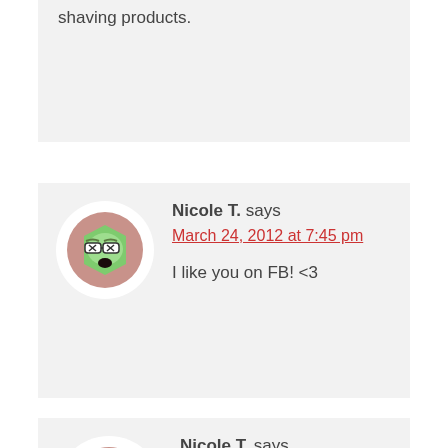shaving products.
Nicole T. says
March 24, 2012 at 7:45 pm

I like you on FB! <3
Nicole T. says
March 24, 2012 at 7:45 pm